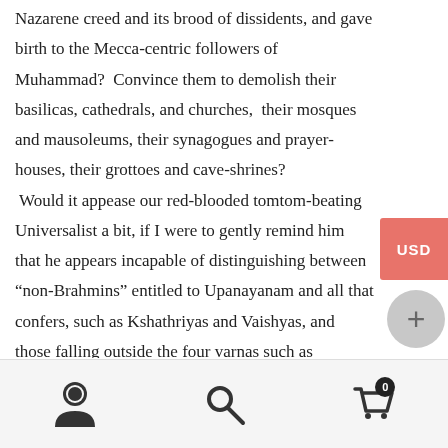Nazarene creed and its brood of dissidents, and gave birth to the Mecca-centric followers of Muhammad?  Convince them to demolish their basilicas, cathedrals, and churches, their mosques and mausoleums, their synagogues and prayer-houses, their grottoes and cave-shrines?  Would it appease our red-blooded tomtom-beating Universalist a bit, if I were to gently remind him that he appears incapable of distinguishing between “non-Brahmins” entitled to Upanayanam and all that confers, such as Kshathriyas and Vaishyas, and those falling outside the four varnas such as worshippers of the phalanx of “Karuppan, Karuppaayee, Maareeaayee, Madurai Veeran,
[Figure (other): USD currency button overlay (pink/salmon color) on the right side of the page]
[Figure (other): Plus (+) button (gray circle) on the right side of the page below USD button]
User icon, Search icon, Shopping cart icon with badge showing 0